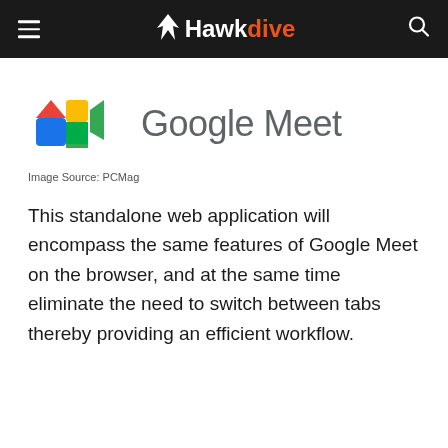Hawkdive
[Figure (logo): Google Meet logo with colorful video camera icon and 'Google Meet' text in grey]
Image Source: PCMag
This standalone web application will encompass the same features of Google Meet on the browser, and at the same time eliminate the need to switch between tabs thereby providing an efficient workflow.